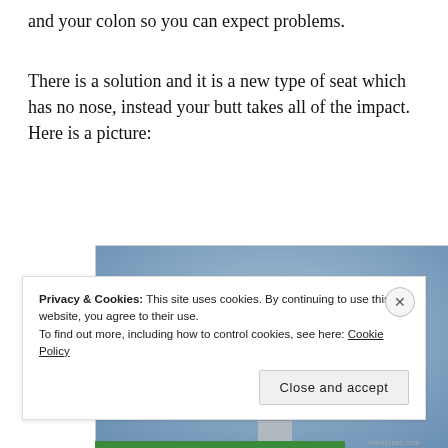and your colon so you can expect problems.
There is a solution and it is a new type of seat which has no nose, instead your butt takes all of the impact.  Here is a picture:
[Figure (photo): A noseless bicycle seat with two padded lobes mounted on a seat post, photographed against a blue sky background.]
Privacy & Cookies: This site uses cookies. By continuing to use this website, you agree to their use.
To find out more, including how to control cookies, see here: Cookie Policy
Close and accept